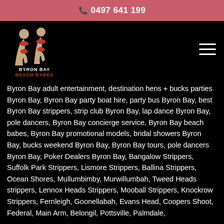📞 0497 641 199
[Figure (logo): Byron Bay Beach Babes logo with two female figures in bikinis, text BYRON BAY BEACH BABES]
Byron Bay adult entertainment, destination hens + bucks parties Byron Bay, Byron Bay party boat hire, party bus Byron Bay, best Byron Bay strippers, strip club Byron Bay, lap dance Byron Bay, pole dancers, Byron Bay concierge service, Byron Bay beach babes, Byron Bay promotional models, bridal showers Byron Bay, bucks weekend Byron Bay, Byron Bay tours, pole dancers Byron Bay, Poker Dealers Byron Bay, Bangalow Strippers, Suffolk Park Strippers, Lismore Strippers, Ballina Strippers, Ocean Shores, Mullumbimby, Murwillumbah, Tweed Heads strippers, Lennox Heads Strippers, Mooball Strippers, Knockrow Strippers, Fernleigh, Goonellabah, Evans Head, Coopers Shoot, Federal, Main Arm, Belongil, Pottsville, Palmdale,